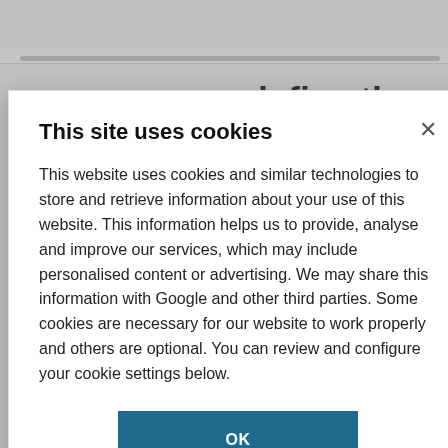e defies the xidation state
emistry l change the
or chemistry
This site uses cookies
This website uses cookies and similar technologies to store and retrieve information about your use of this website. This information helps us to provide, analyse and improve our services, which may include personalised content or advertising. We may share this information with Google and other third parties. Some cookies are necessary for our website to work properly and others are optional. You can review and configure your cookie settings below.
OK
COOKIE SETTINGS